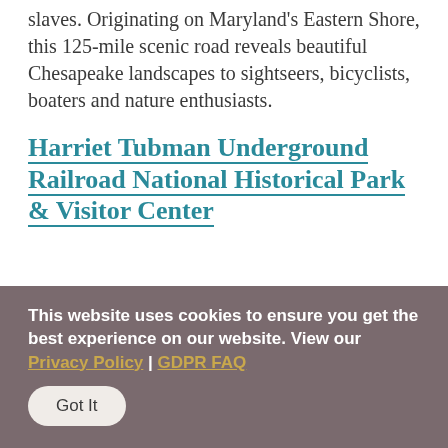slaves. Originating on Maryland's Eastern Shore, this 125-mile scenic road reveals beautiful Chesapeake landscapes to sightseers, bicyclists, boaters and nature enthusiasts.
Harriet Tubman Underground Railroad National Historical Park & Visitor Center
This website uses cookies to ensure you get the best experience on our website. View our Privacy Policy | GDPR FAQ
Got It